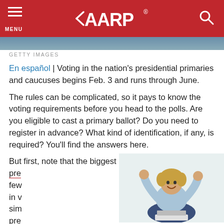AARP
GETTY IMAGES
En español | Voting in the nation's presidential primaries and caucuses begins Feb. 3 and runs through June.
The rules can be complicated, so it pays to know the voting requirements before you head to the polls. Are you eligible to cast a primary ballot? Do you need to register in advance? What kind of identification, if any, is required? You'll find the answers here.
But first, note that the biggest change in the presidential pre...d few...ry, in v...  sim...eir pre...
[Figure (photo): Woman with raised fists celebrating, sitting cross-legged with a laptop]
Thi...d